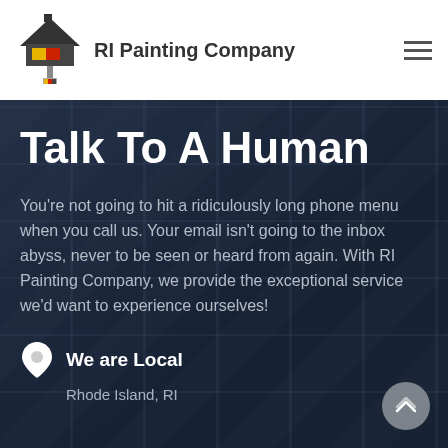RI Painting Company
Talk To A Human
You're not going to hit a ridiculously long phone menu when you call us. Your email isn't going to the inbox abyss, never to be seen or heard from again. With RI Painting Company, we provide the exceptional service we'd want to experience ourselves!
We are Local
Rhode Island, RI